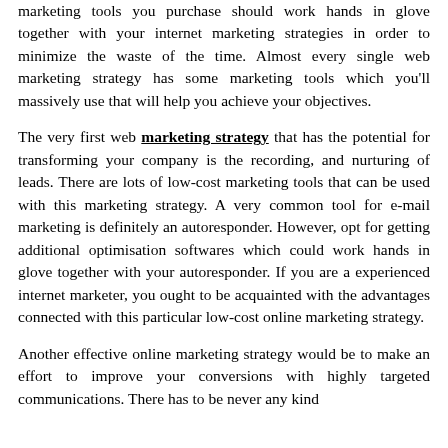marketing tools you purchase should work hands in glove together with your internet marketing strategies in order to minimize the waste of the time. Almost every single web marketing strategy has some marketing tools which you'll massively use that will help you achieve your objectives.
The very first web marketing strategy that has the potential for transforming your company is the recording, and nurturing of leads. There are lots of low-cost marketing tools that can be used with this marketing strategy. A very common tool for e-mail marketing is definitely an autoresponder. However, opt for getting additional optimisation softwares which could work hands in glove together with your autoresponder. If you are a experienced internet marketer, you ought to be acquainted with the advantages connected with this particular low-cost online marketing strategy.
Another effective online marketing strategy would be to make an effort to improve your conversions with highly targeted communications. There has to be never any kind